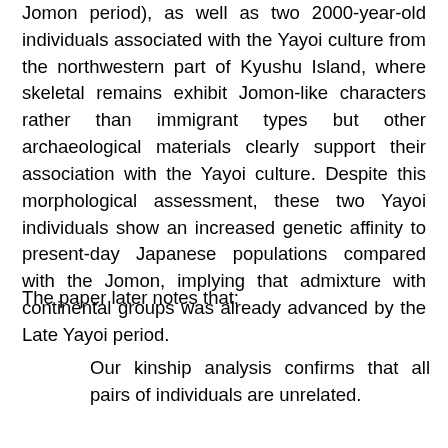Jomon period), as well as two 2000-year-old individuals associated with the Yayoi culture from the northwestern part of Kyushu Island, where skeletal remains exhibit Jomon-like characters rather than immigrant types but other archaeological materials clearly support their association with the Yayoi culture. Despite this morphological assessment, these two Yayoi individuals show an increased genetic affinity to present-day Japanese populations compared with the Jomon, implying that admixture with continental groups was already advanced by the Late Yayoi period.
The paper later notes that:
Our kinship analysis confirms that all pairs of individuals are unrelated.